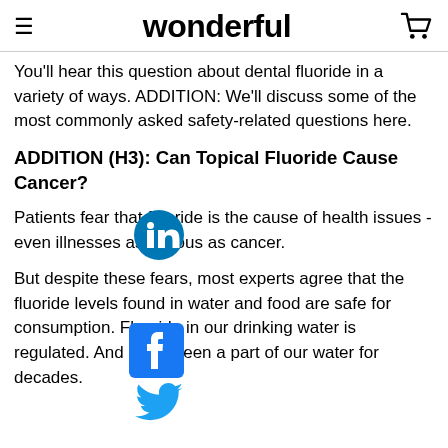wonderful
You'll hear this question about dental fluoride in a variety of ways. ADDITION: We'll discuss some of the most commonly asked safety-related questions here.
ADDITION (H3): Can Topical Fluoride Cause Cancer?
Patients fear that fluoride is the cause of health issues - even illnesses as serious as cancer.
But despite these fears, most experts agree that the fluoride levels found in water and food are safe for consumption. Fluoride in our drinking water is regulated. And it has been a part of our water for decades.